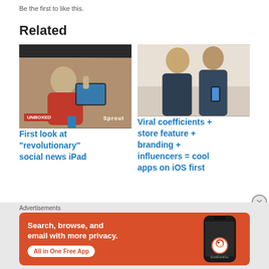Be the first to like this.
Related
[Figure (photo): Man looking at an iPad, social news app screenshot]
First look at “revolutionary” social news iPad
[Figure (photo): Two young men looking at smartphone]
Viral coefficients + store feature + branding + influencers = cool apps on iOS first
Advertisements
[Figure (infographic): DuckDuckGo ad banner: Search, browse, and email with more privacy. All in One Free App. Shows a phone with DuckDuckGo logo.]